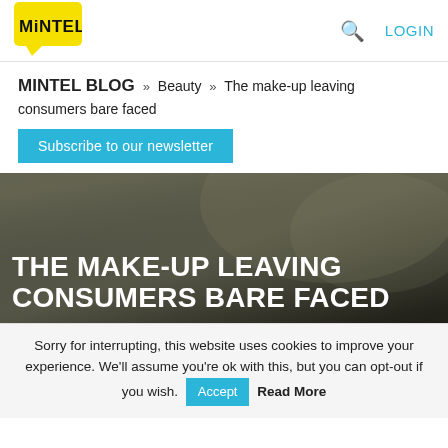[Figure (logo): Mintel logo - yellow speech bubble with MINTEL text in black]
LOGIN
MINTEL BLOG » Beauty » The make-up leaving consumers bare faced
Subscribe to our newsletter
THE MAKE-UP LEAVING CONSUMERS BARE FACED
Sorry for interrupting, this website uses cookies to improve your experience. We'll assume you're ok with this, but you can opt-out if you wish. Accept Read More